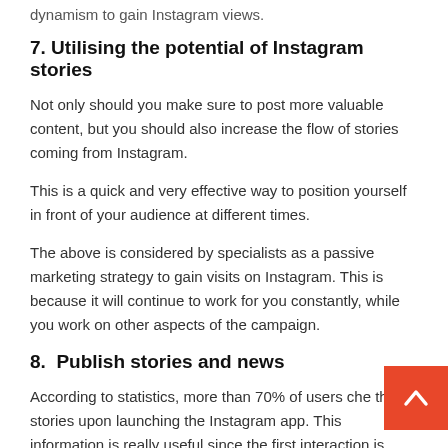dynamism to gain Instagram views.
7. Utilising the potential of Instagram stories
Not only should you make sure to post more valuable content, but you should also increase the flow of stories coming from Instagram.
This is a quick and very effective way to position yourself in front of your audience at different times.
The above is considered by specialists as a passive marketing strategy to gain visits on Instagram. This is because it will continue to work for you constantly, while you work on other aspects of the campaign.
8.  Publish stories and news
According to statistics, more than 70% of users che their stories upon launching the Instagram app. This information is really useful since the first interaction is